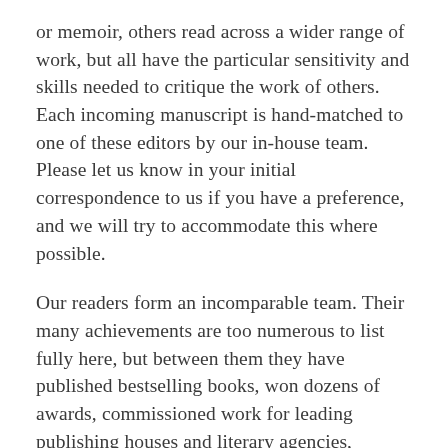or memoir, others read across a wider range of work, but all have the particular sensitivity and skills needed to critique the work of others. Each incoming manuscript is hand-matched to one of these editors by our in-house team. Please let us know in your initial correspondence to us if you have a preference, and we will try to accommodate this where possible.
Our readers form an incomparable team. Their many achievements are too numerous to list fully here, but between them they have published bestselling books, won dozens of awards, commissioned work for leading publishing houses and literary agencies, produced award-winning theatre and radio plays, tutored creative writing at UEA, Birkbeck, Goldsmiths and the OUP, worked as writers in residence around the world, and more. We have included a short line to demonstrate what each reader tends to read for TLC, but if you don't see your genre represented, do just get in touch